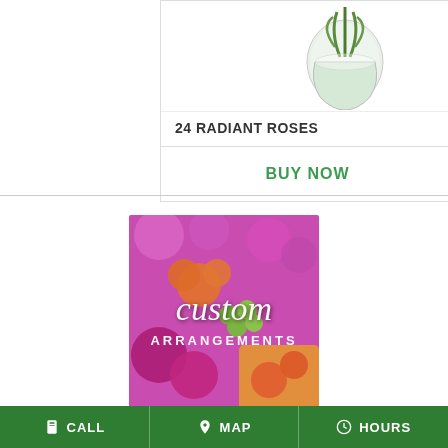[Figure (photo): Partial view of a glass vase with green leaves/stems visible at the top]
24 RADIANT ROSES
BUY NOW
[Figure (photo): Custom flower arrangements promotional image with orange roses, purple flowers, green berries, magenta carnations with text 'custom ARRANGEMENTS']
CALL  MAP  HOURS